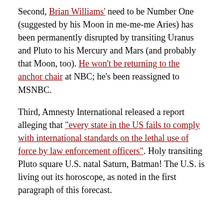Second, Brian Williams' need to be Number One (suggested by his Moon in me-me-me Aries) has been permanently disrupted by transiting Uranus and Pluto to his Mercury and Mars (and probably that Moon, too). He won't be returning to the anchor chair at NBC; he's been reassigned to MSNBC.
Third, Amnesty International released a report alleging that "every state in the US fails to comply with international standards on the lethal use of force by law enforcement officers". Holy transiting Pluto square U.S. natal Saturn, Batman! The U.S. is living out its horoscope, as noted in the first paragraph of this forecast.